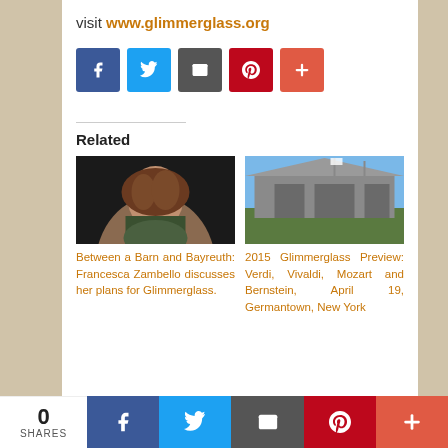visit www.glimmerglass.org
[Figure (infographic): Social share buttons: Facebook (blue), Twitter (light blue), Email (dark gray), Pinterest (red), Plus (orange-red)]
Related
[Figure (photo): Portrait photo of Francesca Zambello, a woman with curly brown hair, smiling]
Between a Barn and Bayreuth: Francesca Zambello discusses her plans for Glimmerglass.
[Figure (photo): Photo of the Glimmerglass opera building exterior, modern architecture with flags, green lawn, blue sky]
2015 Glimmerglass Preview: Verdi, Vivaldi, Mozart and Bernstein, April 19, Germantown, New York
0 SHARES | Facebook | Twitter | Email | Pinterest | +